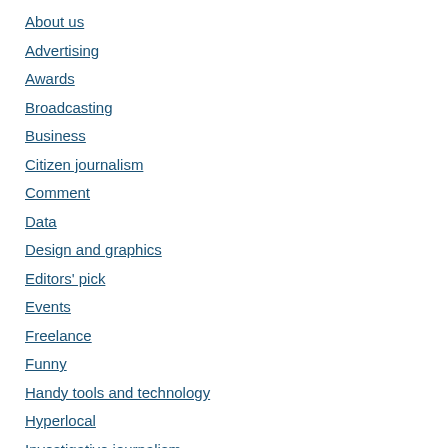About us
Advertising
Awards
Broadcasting
Business
Citizen journalism
Comment
Data
Design and graphics
Editors' pick
Events
Freelance
Funny
Handy tools and technology
Hyperlocal
Investigative journalism
Job losses
Jobs
Journalism